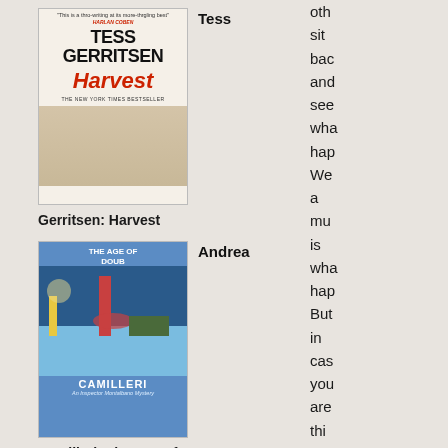[Figure (photo): Book cover of Harvest by Tess Gerritsen]
Tess
Gerritsen: Harvest
[Figure (photo): Book cover of The Age of Doubt by Andrea Camilleri]
Andrea
Camilleri: The Age of Doubt (Montalbano 14)
[Figure (photo): Book cover partially visible at bottom]
Sara Holton:
oth sit bac and see wha hap We a mu is wha hap But in cas you are thi this is a sut